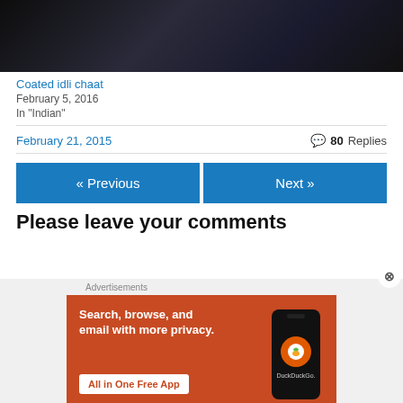[Figure (photo): Dark moody photo, top portion visible, appears to be a person or object with dark background]
Coated idli chaat
February 5, 2016
In "Indian"
February 21, 2015
80 Replies
« Previous
Next »
Please leave your comments
Advertisements
[Figure (photo): DuckDuckGo advertisement banner with orange background showing 'Search, browse, and email with more privacy. All in One Free App' with a phone mockup and DuckDuckGo logo]